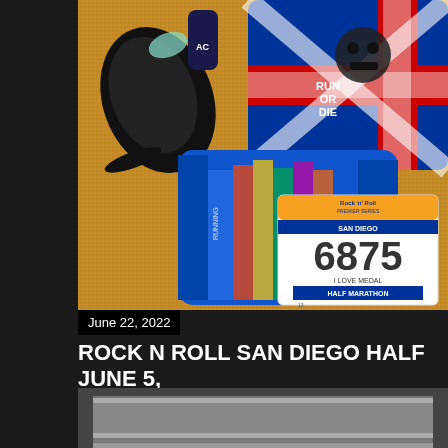[Figure (photo): Flat lay photo on tan/brown carpet showing running gear: black running shoes (top left), dark compression socks, a red/blue/white Union Jack 'Run or Die' skull running shirt, colorful blue running shorts with text/graphic prints, and a race bib numbered 6875 for 'I Love Medal Half Marathon' from Rock n Roll running series]
June 22, 2022
ROCK N ROLL SAN DIEGO HALF JUNE 5, 2022
Share    Post a Comment
[Figure (photo): Partial view of what appears to be a framed photo or display, shown at the bottom of the page, partially cut off]